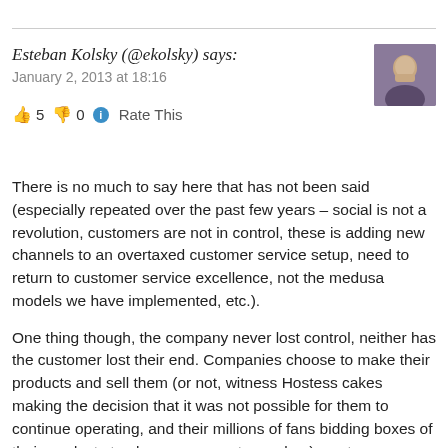Esteban Kolsky (@ekolsky) says:
January 2, 2013 at 18:16
👍 5  👎 0  ℹ Rate This
There is no much to say here that has not been said (especially repeated over the past few years – social is not a revolution, customers are not in control, these is adding new channels to an overtaxed customer service setup, need to return to customer service excellence, not the medusa models we have implemented, etc.).
One thing though, the company never lost control, neither has the customer lost their end. Companies choose to make their products and sell them (or not, witness Hostess cakes making the decision that it was not possible for them to continue operating, and their millions of fans bidding boxes of their products to obscene amounts on ebay), customers continue to